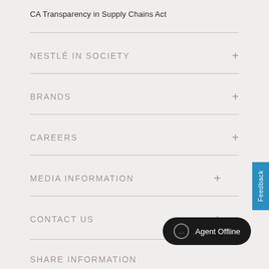CA Transparency in Supply Chains Act
NESTLÉ IN SOCIETY
BRANDS
CAREERS
MEDIA INFORMATION
CONTACT US
SHARE INFORMATION
Feedback
Agent Offline